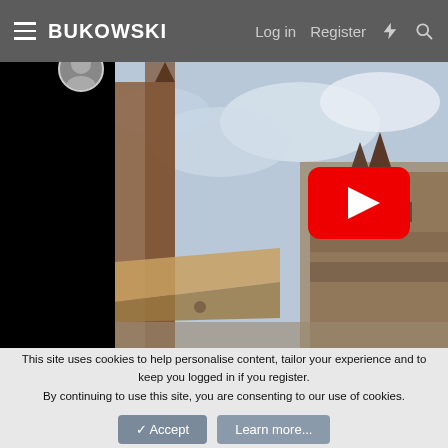BUKOWSKI | Log in  Register
[Figure (screenshot): Screenshot of Bukowski auction website showing a painting of a Gothic cathedral (likely St. Stephen's Cathedral in Vienna) with a YouTube play button overlay on the right side. Left portion of the image is covered by a black overlay. A small circular avatar is partially visible at the top.]
This site uses cookies to help personalise content, tailor your experience and to keep you logged in if you register.
By continuing to use this site, you are consenting to our use of cookies.
✓ Accept  Learn more...